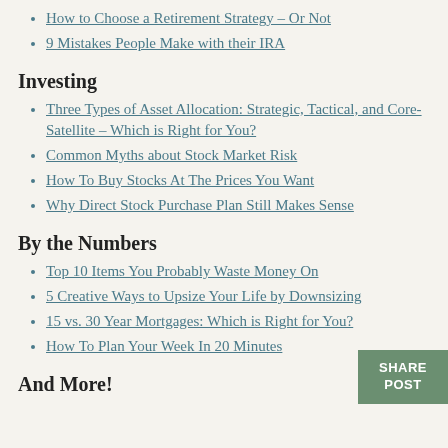How to Choose a Retirement Strategy – Or Not
9 Mistakes People Make with their IRA
Investing
Three Types of Asset Allocation: Strategic, Tactical, and Core-Satellite – Which is Right for You?
Common Myths about Stock Market Risk
How To Buy Stocks At The Prices You Want
Why Direct Stock Purchase Plan Still Makes Sense
By the Numbers
Top 10 Items You Probably Waste Money On
5 Creative Ways to Upsize Your Life by Downsizing
15 vs. 30 Year Mortgages: Which is Right for You?
How To Plan Your Week In 20 Minutes
And More!